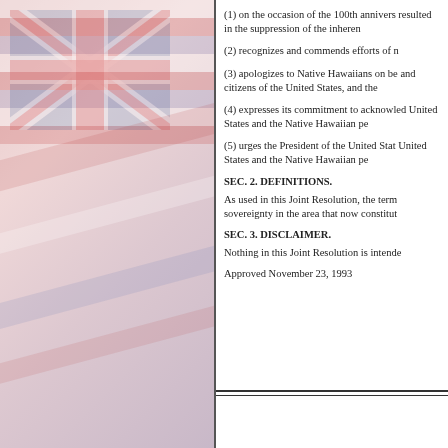[Figure (illustration): Left half of page showing a faded Hawaiian flag image with red, white, and blue stripes and a Union Jack canton in the upper left corner, muted/watercolor style background.]
(1) on the occasion of the 100th annivers... resulted in the suppression of the inherent...
(2) recognizes and commends efforts of n...
(3) apologizes to Native Hawaiians on be... and citizens of the United States, and the...
(4) expresses its commitment to acknowled... United States and the Native Hawaiian pe...
(5) urges the President of the United Stat... United States and the Native Hawaiian pe...
SEC. 2. DEFINITIONS.
As used in this Joint Resolution, the term... sovereignty in the area that now constitut...
SEC. 3. DISCLAIMER.
Nothing in this Joint Resolution is intende...
Approved November 23, 1993